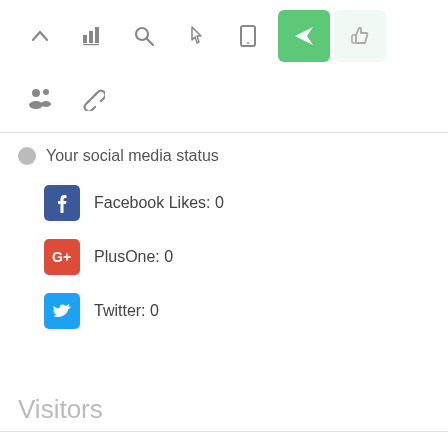[Figure (screenshot): Toolbar row 1 with icons: chevron up, bar chart, search, pointer, tablet, green send/publish button (active), thumbs up (light)]
[Figure (screenshot): Toolbar row 2 with icons: people/audience, chain link]
Your social media status
Facebook Likes: 0
PlusOne: 0
Twitter: 0
Visitors